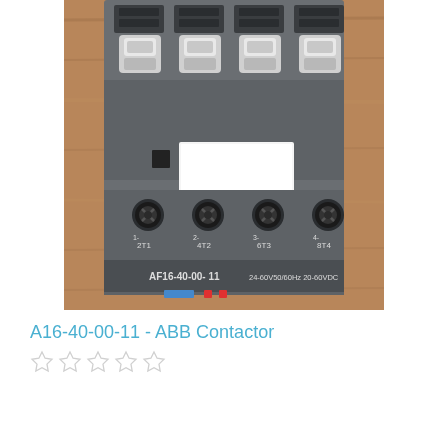[Figure (photo): ABB AF16-40-00-11 contactor photographed from above showing gray plastic housing with four white terminal clamps at top, four screw terminals at bottom labeled 2T1, 4T2, 6T3, 8T4, and a white label sticker in the middle. Text on device reads AF16-40-00-11 and 24-60V50/60Hz 20-60VDC.]
A16-40-00-11 - ABB Contactor
☆☆☆☆☆